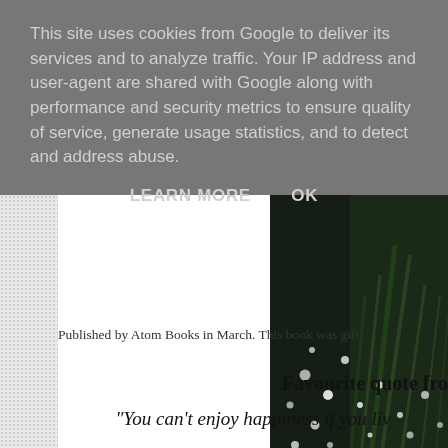This site uses cookies from Google to deliver its services and to analyze traffic. Your IP address and user-agent are shared with Google along with performance and security metrics to ensure quality of service, generate usage statistics, and to detect and address abuse.
LEARN MORE    OK
[Figure (photo): Dark nature photo showing white droplets or bokeh lights against dark background with green foliage]
Published by Atom Books in March. This book was gift
Favourite quote fro
"You can't enjoy happiness if you liv